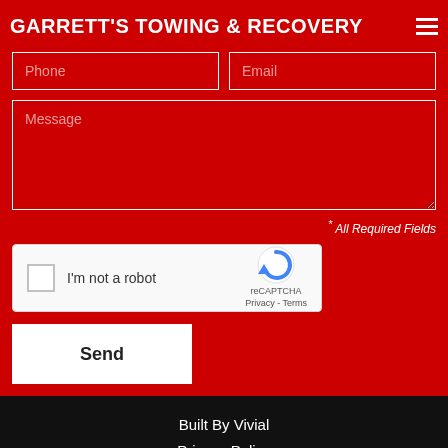GARRETT'S TOWING & RECOVERY
[Figure (screenshot): Contact form with Phone and Email input fields, a Message textarea, a reCAPTCHA widget, and a Send button on a red background]
* All Required Fields
Built By Vivial
Privacy Policy